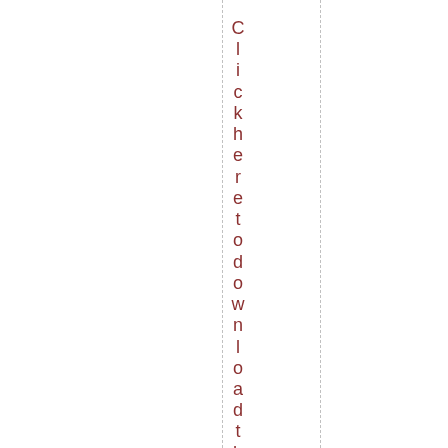Click here to download the full inv